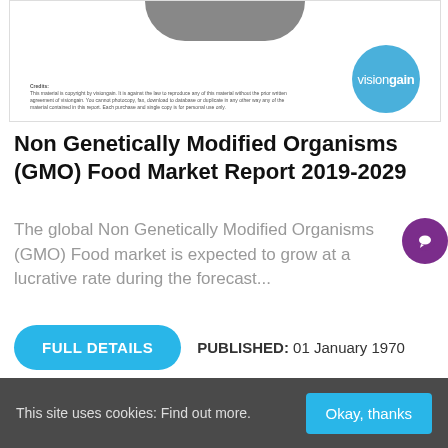[Figure (logo): Visiongain report cover thumbnail showing a gray curved shape at top and a visiongain blue circle logo at bottom right, with small copyright text at bottom left]
Non Genetically Modified Organisms (GMO) Food Market Report 2019-2029
The global Non Genetically Modified Organisms (GMO) Food market is expected to grow at a lucrative rate during the forecast...
FULL DETAILS
PUBLISHED: 01 January 1970
This site uses cookies: Find out more.
Okay, thanks